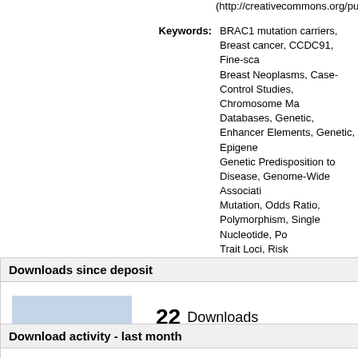(http://creativecommons.org/publicdomain/zero/1.0/) applies
Keywords: BRAC1 mutation carriers, Breast cancer, CCDC91, Fine-sca Breast Neoplasms, Case-Control Studies, Chromosome Ma Databases, Genetic, Enhancer Elements, Genetic, Epigene Genetic Predisposition to Disease, Genome-Wide Associati Mutation, Odds Ratio, Polymorphism, Single Nucleotide, Po Trait Loci, Risk
UCL classification: UCL UCL > Provost and Vice Provost Offices > School of Life an UCL > Provost and Vice Provost Offices > School of Life an UCL > Provost and Vice Provost Offices > School of Life an Psychiatry
URI: https://discovery.ucl.ac.uk/id/eprint/1574503
Downloads since deposit
22 Downloads
Download activity - last month